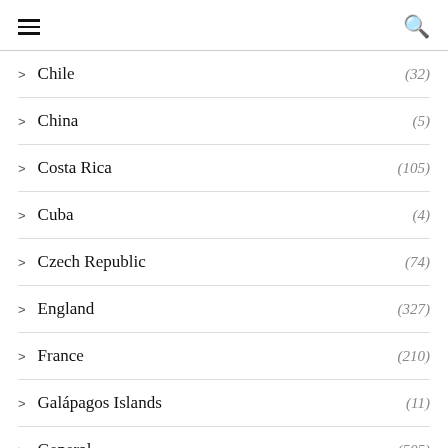≡  🔍
> Chile (32)
> China (5)
> Costa Rica (105)
> Cuba (4)
> Czech Republic (74)
> England (327)
> France (210)
> Galápagos Islands (11)
> General (505)